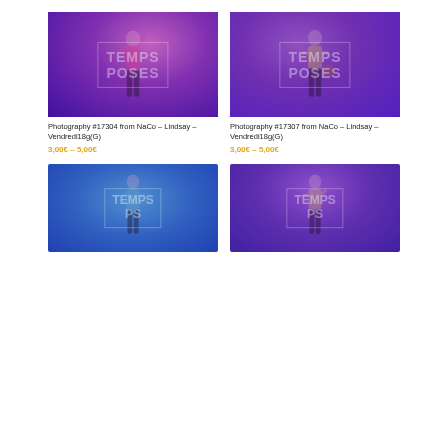[Figure (photo): Dance performance photo #17304 with TEMPS POSES watermark, young girl dancer on stage with purple lighting]
Photography #17304 from NaCo – Lindsay – Vendredi18g(G)
3,00€ – 5,00€
[Figure (photo): Dance performance photo #17307 with TEMPS POSES watermark, teenage girl dancer on stage with purple lighting]
Photography #17307 from NaCo – Lindsay – Vendredi18g(G)
3,00€ – 5,00€
[Figure (photo): Dance performance photo with TEMPS PS watermark, dancer on blue-lit stage]
[Figure (photo): Dance performance photo with TEMPS PS watermark, dancer on purple-lit stage]